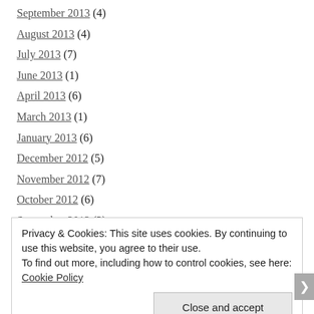September 2013 (4)
August 2013 (4)
July 2013 (7)
June 2013 (1)
April 2013 (6)
March 2013 (1)
January 2013 (6)
December 2012 (5)
November 2012 (7)
October 2012 (6)
September 2012 (3)
August 2012 (6)
Privacy & Cookies: This site uses cookies. By continuing to use this website, you agree to their use. To find out more, including how to control cookies, see here: Cookie Policy
Close and accept